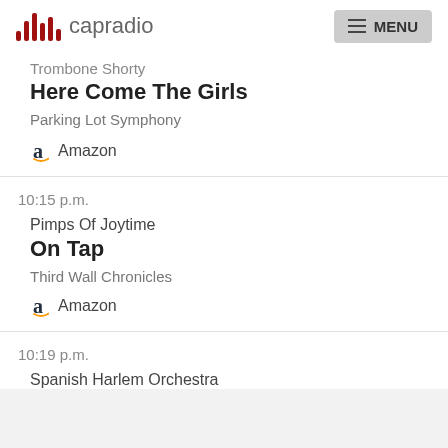capradio MENU
Trombone Shorty
Here Come The Girls
Parking Lot Symphony
Amazon
10:15 p.m.
Pimps Of Joytime
On Tap
Third Wall Chronicles
Amazon
10:19 p.m.
Spanish Harlem Orchestra